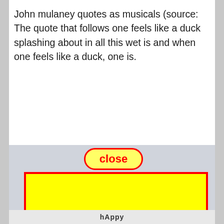John mulaney quotes as musicals (source: The quote that follows one feels like a duck splashing about in all this wet is and when one feels like a duck, one is.
[Figure (screenshot): A screenshot showing a 'close' button with red border on yellow background, and a large yellow rectangle with red border, with partial text 'hAppy' visible at the bottom.]